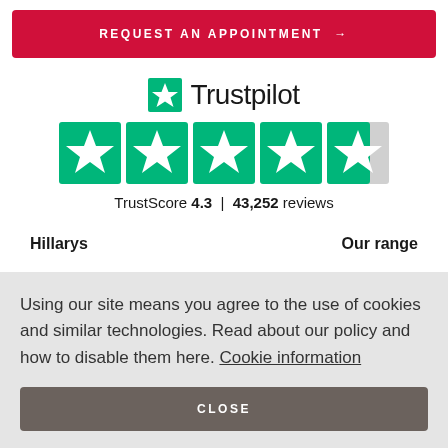REQUEST AN APPOINTMENT →
[Figure (logo): Trustpilot logo with green star and text 'Trustpilot', showing 4.3 out of 5 stars rating with TrustScore 4.3 and 43,252 reviews]
TrustScore 4.3 | 43,252 reviews
Hillarys
Our range
Using our site means you agree to the use of cookies and similar technologies. Read about our policy and how to disable them here. Cookie information
CLOSE